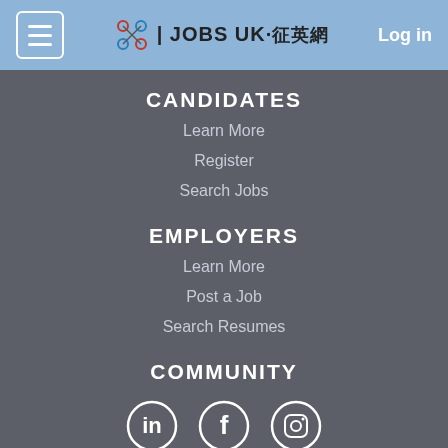JOBS UK·征英網  Log in
CANDIDATES
Learn More
Register
Search Jobs
EMPLOYERS
Learn More
Post a Job
Search Resumes
COMMUNITY
[Figure (illustration): Social media icons: LinkedIn, Facebook, Instagram]